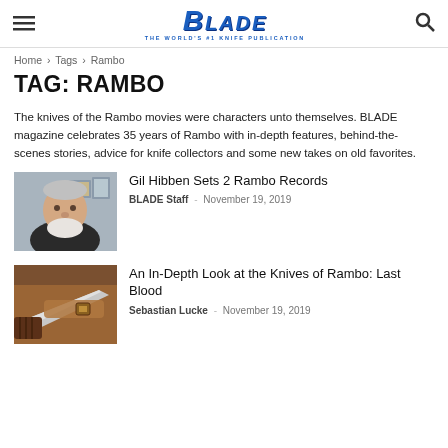BLADE — THE WORLD'S #1 KNIFE PUBLICATION
Home › Tags › Rambo
TAG: RAMBO
The knives of the Rambo movies were characters unto themselves. BLADE magazine celebrates 35 years of Rambo with in-depth features, behind-the-scenes stories, advice for knife collectors and some new takes on old favorites.
[Figure (photo): Photo of Gil Hibben, an older man with white beard, in black shirt, with framed items on wall behind]
Gil Hibben Sets 2 Rambo Records
BLADE Staff · November 19, 2019
[Figure (photo): Photo of a knife with brown leather sheath/holster, detail shot]
An In-Depth Look at the Knives of Rambo: Last Blood
Sebastian Lucke · November 19, 2019